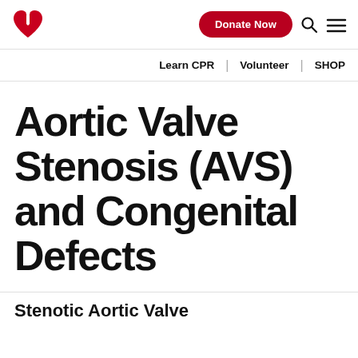[Figure (logo): American Heart Association logo: red heart with flame and torch]
Donate Now
Learn CPR | Volunteer | SHOP
Aortic Valve Stenosis (AVS) and Congenital Defects
Stenotic Aortic Valve